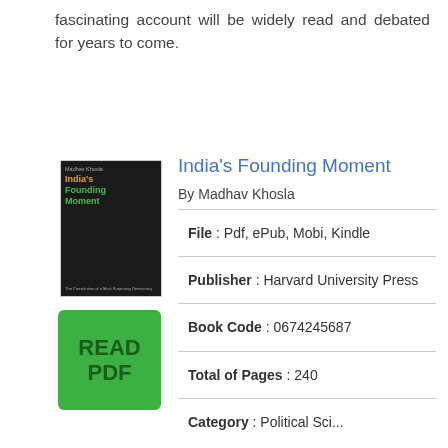fascinating account will be widely read and debated for years to come.
[Figure (illustration): Book cover of India's Founding Moment by Madhav Khosla, dark background with orange and green title text]
[Figure (other): Green READ PDF button]
India's Founding Moment
By Madhav Khosla
File : Pdf, ePub, Mobi, Kindle
Publisher : Harvard University Press
Book Code : 0674245687
Total of Pages : 240
Category : Political Science